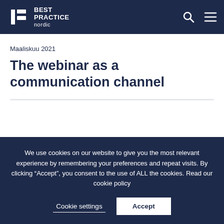BEST PRACTICE nordic
Maaliskuu 2021
The webinar as a communication channel
We use cookies on our website to give you the most relevant experience by remembering your preferences and repeat visits. By clicking “Accept”, you consent to the use of ALL the cookies. Read our cookie policy
Cookie settings
Accept